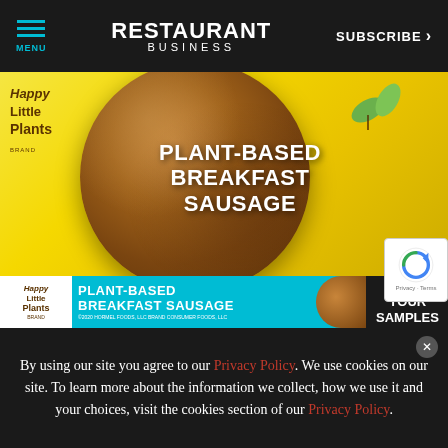MENU | RESTAURANT BUSINESS | SUBSCRIBE
[Figure (advertisement): Happy Little Plants brand advertisement showing a plant-based breakfast sausage patty on a yellow background with text 'PLANT-BASED BREAKFAST SAUSAGE' and a bottom banner with 'GET YOUR SAMPLES']
By using our site you agree to our Privacy Policy. We use cookies on our site. To learn more about the information we collect, how we use it and your choices, visit the cookies section of our Privacy Policy.